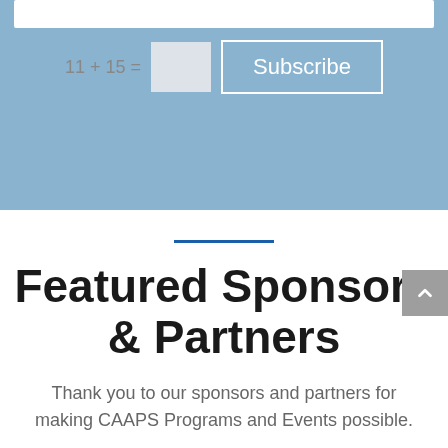[Figure (screenshot): Blue background section with a CAPTCHA math equation '11 + 15 =' followed by an empty input box, and a 'Subscribe' button with white border on blue background.]
Featured Sponsors & Partners
Thank you to our sponsors and partners for making CAAPS Programs and Events possible.